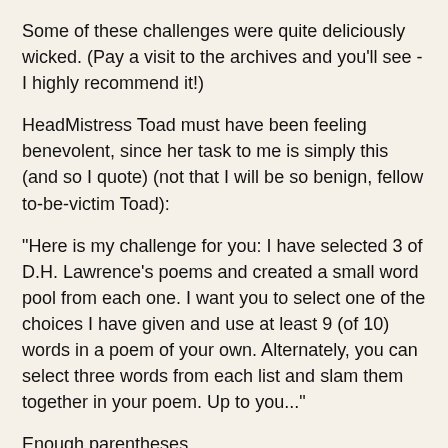Some of these challenges were quite deliciously wicked. (Pay a visit to the archives and you'll see - I highly recommend it!)
HeadMistress Toad must have been feeling benevolent, since her task to me is simply this (and so I quote) (not that I will be so benign, fellow to-be-victim Toad):
"Here is my challenge for you: I have selected 3 of D.H. Lawrence's poems and created a small word pool from each one. I want you to select one of the choices I have given and use at least 9 (of 10) words in a poem of your own. Alternately, you can select three words from each list and slam them together in your poem. Up to you..."
Enough parentheses.
Frankenstein, as it were, cobbled by the mad doctor/poet from the flesh of Lawrence's pens. Being stubborn and vain, I used all 30. Please see below the post to view the seed poems and selected words.